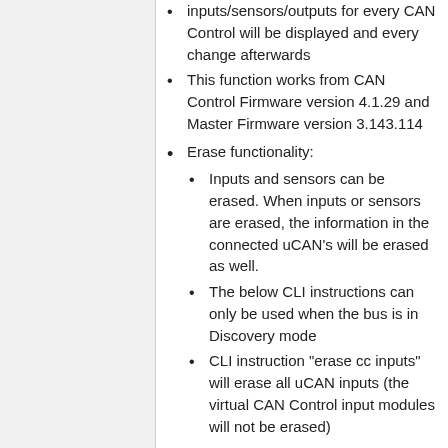inputs/sensors/outputs for every CAN Control will be displayed and every change afterwards
This function works from CAN Control Firmware version 4.1.29 and Master Firmware version 3.143.114
Erase functionality:
Inputs and sensors can be erased. When inputs or sensors are erased, the information in the connected uCAN's will be erased as well.
The below CLI instructions can only be used when the bus is in Discovery mode
CLI instruction "erase cc inputs" will erase all uCAN inputs (the virtual CAN Control input modules will not be erased)